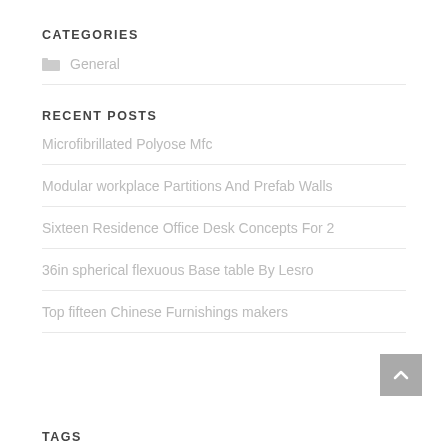CATEGORIES
General
RECENT POSTS
Microfibrillated Polyose Mfc
Modular workplace Partitions And Prefab Walls
Sixteen Residence Office Desk Concepts For 2
36in spherical flexuous Base table By Lesro
Top fifteen Chinese Furnishings makers
TAGS